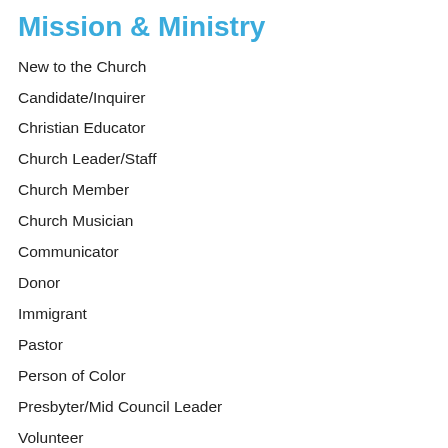Mission & Ministry
New to the Church
Candidate/Inquirer
Christian Educator
Church Leader/Staff
Church Member
Church Musician
Communicator
Donor
Immigrant
Pastor
Person of Color
Presbyter/Mid Council Leader
Volunteer
Woman